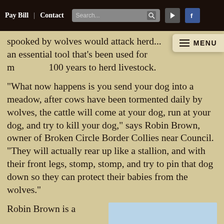Pay Bill | Contact  Search...  ▶  f
spooked by wolves would attack herd... an essential tool that's been used for more than 100 years to herd livestock.
“What now happens is you send your dog into a meadow, after cows have been tormented daily by wolves, the cattle will come at your dog, run at your dog, and try to kill your dog,” says Robin Brown, owner of Broken Circle Border Collies near Council. “They will actually rear up like a stallion, and with their front legs, stomp, stomp, and try to pin that dog down so they can protect their babies from the wolves.”
Robin Brown is a